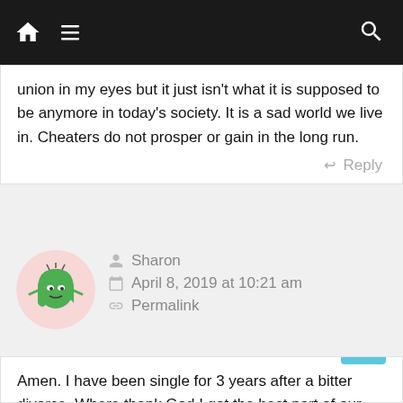Navigation bar with home, menu, and search icons
union in my eyes but it just isn't what it is supposed to be anymore in today's society. It is a sad world we live in. Cheaters do not prosper or gain in the long run.
Reply
[Figure (illustration): Avatar of a green cartoon ghost character with a pink circular background]
Sharon
April 8, 2019 at 10:21 am
Permalink
Amen. I have been single for 3 years after a bitter divorce. Where thank God I got the best part of our